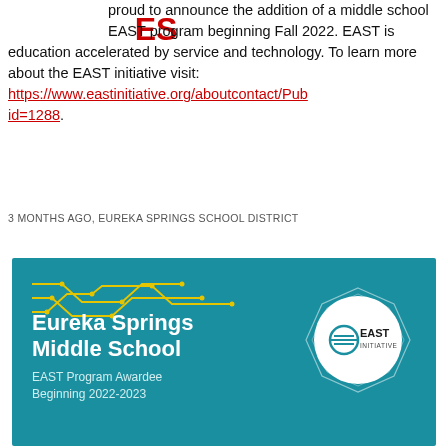[Figure (logo): ES school logo in red letters on white background]
proud to announce the addition of a middle school EAST program beginning Fall 2022. EAST is education accelerated by service and technology. To learn more about the EAST initiative visit: https://www.eastinitiative.org/aboutcontact/Publicid=1288.
3 MONTHS AGO, EUREKA SPRINGS SCHOOL DISTRICT
[Figure (infographic): Teal banner with circuit board design elements, text reading 'Eureka Springs Middle School EAST Program Awardee Beginning 2022-2023' and EAST Initiative logo in white circle on right side]